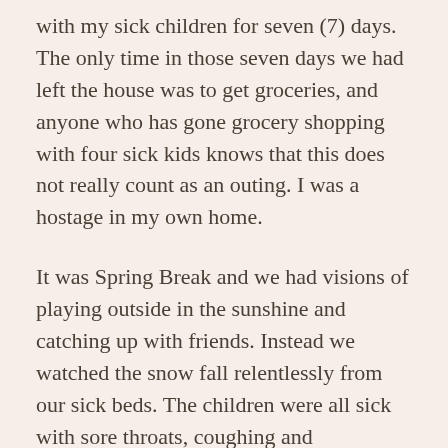with my sick children for seven (7) days. The only time in those seven days we had left the house was to get groceries, and anyone who has gone grocery shopping with four sick kids knows that this does not really count as an outing. I was a hostage in my own home.
It was Spring Break and we had visions of playing outside in the sunshine and catching up with friends. Instead we watched the snow fall relentlessly from our sick beds. The children were all sick with sore throats, coughing and congestion, but when Max broke out in a rash all over his body we started to get a